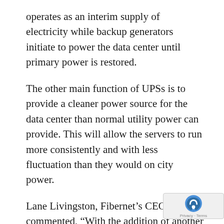operates as an interim supply of electricity while backup generators initiate to power the data center until primary power is restored.
The other main function of UPSs is to provide a cleaner power source for the data center than normal utility power can provide. This will allow the servers to run more consistently and with less fluctuation than they would on city power.
Lane Livingston, Fibernet’s CEO, commented, “With the addition of another UPS to our data center, we continue our pledge to absolute redundancy. One of our main points of focus has always been to provide the most reliable, consistent service to our Colocation and host…